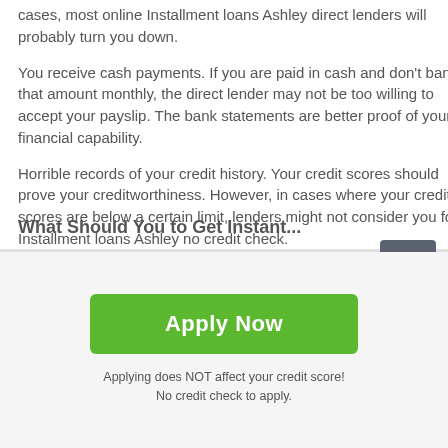cases, most online Installment loans Ashley direct lenders will probably turn you down.
You receive cash payments. If you are paid in cash and don't bank that amount monthly, the direct lender may not be too willing to accept your payslip. The bank statements are better proof of your financial capability.
Horrible records of your credit history. Your credit scores should prove your creditworthiness. However, in cases where your credit scores are below a certain limit, lenders might not consider you for Installment loans Ashley no credit check.
What Should You to Get Instant...
[Figure (other): Scroll-to-top button: dark grey square with white upward arrow]
Apply Now
Applying does NOT affect your credit score!
No credit check to apply.